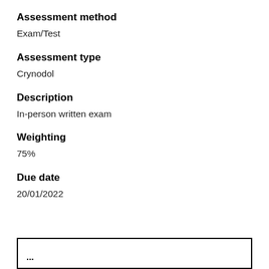Assessment method
Exam/Test
Assessment type
Crynodol
Description
In-person written exam
Weighting
75%
Due date
20/01/2022